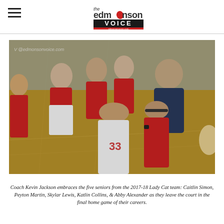the Edmonson Voice
[Figure (photo): Coach Kevin Jackson embraces five female basketball players in red uniforms on a gymnasium court. The players are in a group hug with the coach, who is wearing a navy blue jacket. One player wears jersey number 33. A watermark reads @edmonsonvoice.com.]
Coach Kevin Jackson embraces the five seniors from the 2017-18 Lady Cat team: Caitlin Simon, Peyton Martin, Skylar Lewis, Katlin Collins, & Abby Alexander as they leave the court in the final home game of their careers.